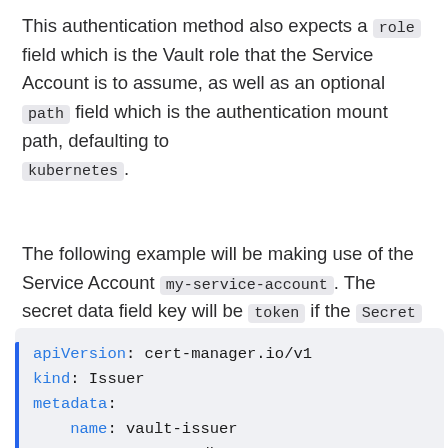This authentication method also expects a role field which is the Vault role that the Service Account is to assume, as well as an optional path field which is the authentication mount path, defaulting to kubernetes.
The following example will be making use of the Service Account my-service-account. The secret data field key will be token if the Secret has been created by Kubernetes.
apiVersion: cert-manager.io/v1
kind: Issuer
metadata:
    name: vault-issuer
    namespace: sandbox